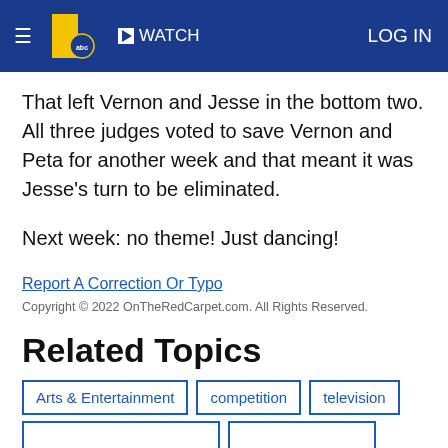≡  11 abc  ▶ WATCH  LOG IN
That left Vernon and Jesse in the bottom two. All three judges voted to save Vernon and Peta for another week and that meant it was Jesse's turn to be eliminated.
Next week: no theme! Just dancing!
Report A Correction Or Typo
Copyright © 2022 OnTheRedCarpet.com. All Rights Reserved.
Related Topics
Arts & Entertainment
competition
television